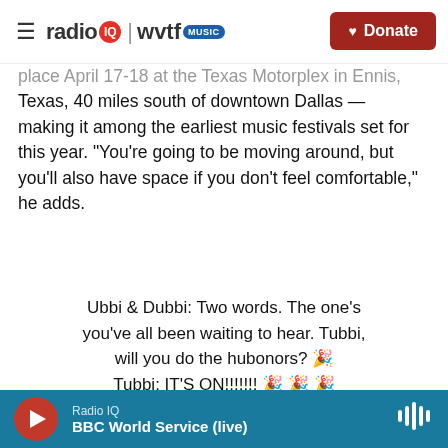radio IQ | wvtf MUSIC — Donate
place April 17-18 at the Texas Motorplex in Ennis, Texas, 40 miles south of downtown Dallas — making it among the earliest music festivals set for this year. "You're going to be moving around, but you'll also have space if you don't feel comfortable," he adds.
Ubbi & Dubbi: Two words. The one's you've all been waiting to hear. Tubbi, will you do the hubonors? 🎉
Tubbi: IT'S ON!!!!!!! 🎉 🎉 🎉
Updates and more details on our new
Radio IQ
BBC World Service (live)